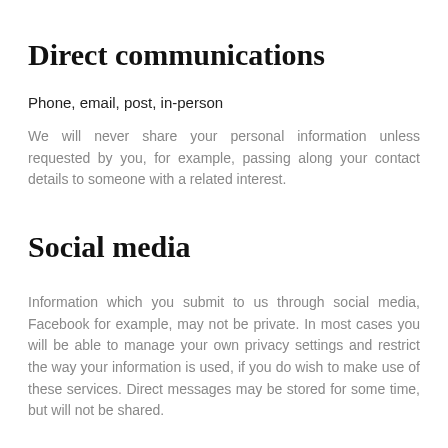Direct communications
Phone, email, post, in-person
We will never share your personal information unless requested by you, for example, passing along your contact details to someone with a related interest.
Social media
Information which you submit to us through social media, Facebook for example, may not be private. In most cases you will be able to manage your own privacy settings and restrict the way your information is used, if you do wish to make use of these services. Direct messages may be stored for some time, but will not be shared.